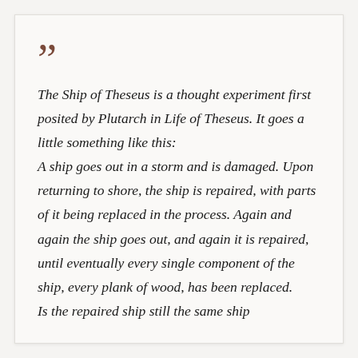The Ship of Theseus is a thought experiment first posited by Plutarch in Life of Theseus. It goes a little something like this: A ship goes out in a storm and is damaged. Upon returning to shore, the ship is repaired, with parts of it being replaced in the process. Again and again the ship goes out, and again it is repaired, until eventually every single component of the ship, every plank of wood, has been replaced. Is the repaired ship still the same ship